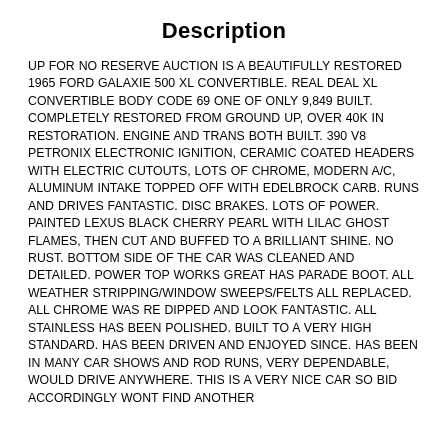Description
UP FOR NO RESERVE AUCTION IS A BEAUTIFULLY RESTORED 1965 FORD GALAXIE 500 XL CONVERTIBLE. REAL DEAL XL CONVERTIBLE BODY CODE 69 ONE OF ONLY 9,849 BUILT. COMPLETELY RESTORED FROM GROUND UP, OVER 40K IN RESTORATION. ENGINE AND TRANS BOTH BUILT. 390 V8 PETRONIX ELECTRONIC IGNITION, CERAMIC COATED HEADERS WITH ELECTRIC CUTOUTS, LOTS OF CHROME, MODERN A/C, ALUMINUM INTAKE TOPPED OFF WITH EDELBROCK CARB. RUNS AND DRIVES FANTASTIC. DISC BRAKES. LOTS OF POWER. PAINTED LEXUS BLACK CHERRY PEARL WITH LILAC GHOST FLAMES, THEN CUT AND BUFFED TO A BRILLIANT SHINE. NO RUST. BOTTOM SIDE OF THE CAR WAS CLEANED AND DETAILED. POWER TOP WORKS GREAT HAS PARADE BOOT. ALL WEATHER STRIPPING/WINDOW SWEEPS/FELTS ALL REPLACED. ALL CHROME WAS RE DIPPED AND LOOK FANTASTIC. ALL STAINLESS HAS BEEN POLISHED. BUILT TO A VERY HIGH STANDARD. HAS BEEN DRIVEN AND ENJOYED SINCE. HAS BEEN IN MANY CAR SHOWS AND ROD RUNS, VERY DEPENDABLE, WOULD DRIVE ANYWHERE. THIS IS A VERY NICE CAR SO BID ACCORDINGLY WONT FIND ANOTHER